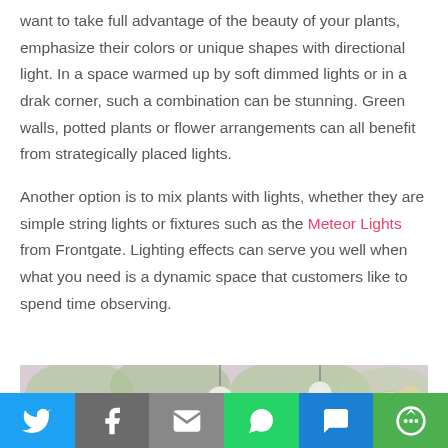want to take full advantage of the beauty of your plants, emphasize their colors or unique shapes with directional light. In a space warmed up by soft dimmed lights or in a drak corner, such a combination can be stunning. Green walls, potted plants or flower arrangements can all benefit from strategically placed lights.

Another option is to mix plants with lights, whether they are simple string lights or fixtures such as the Meteor Lights from Frontgate. Lighting effects can serve you well when what you need is a dynamic space that customers like to spend time observing.
[Figure (photo): Photo of pink and red flowers mixed with hanging glass globe lights against a bright background, partially visible]
[Figure (infographic): Social media share bar with icons: Twitter (blue), Facebook (gray), Email (gray), WhatsApp (green), SMS (blue), More (green)]